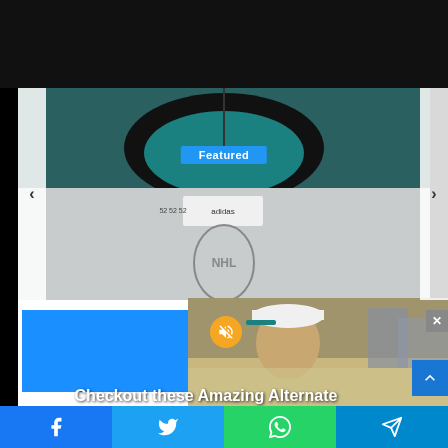[Figure (photo): NHL jersey close-up showing Adidas branding and teal/black collar with NHL shield logo]
Checkout these Amazing Alternate Jerseys Designs for all 32 NHL Teams
[Figure (photo): Young man wearing white cap with teal brim, crowd in background]
Facebook Twitter WhatsApp Telegram social share bar